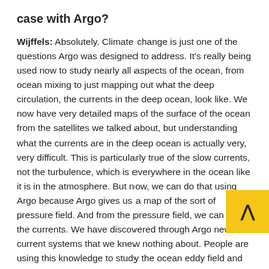case with Argo?
Wijffels: Absolutely. Climate change is just one of the questions Argo was designed to address. It's really being used now to study nearly all aspects of the ocean, from ocean mixing to just mapping out what the deep circulation, the currents in the deep ocean, look like. We now have very detailed maps of the surface of the ocean from the satellites we talked about, but understanding what the currents are in the deep ocean is actually very, very difficult. This is particularly true of the slow currents, not the turbulence, which is everywhere in the ocean like it is in the atmosphere. But now, we can do that using Argo because Argo gives us a map of the sort of pressure field. And from the pressure field, we can infer the currents. We have discovered through Argo new current systems that we knew nothing about. People are using this knowledge to study the ocean eddy field and how it moves heat around the ocean.
People have also made lots of discoveries about salinity: